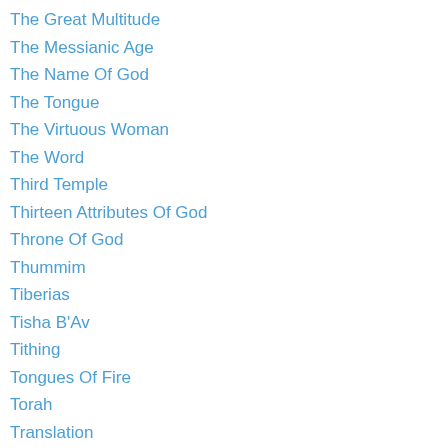The Great Multitude
The Messianic Age
The Name Of God
The Tongue
The Virtuous Woman
The Word
Third Temple
Thirteen Attributes Of God
Throne Of God
Thummim
Tiberias
Tisha B'Av
Tithing
Tongues Of Fire
Torah
Translation
Tribulation
Trumpet
Unclean
Unity
Urim